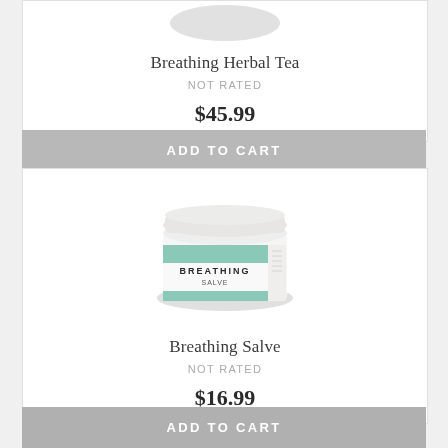[Figure (photo): Partial view of Breathing Herbal Tea product image at top of page]
Breathing Herbal Tea
NOT RATED
$45.99
ADD TO CART
[Figure (photo): Breathing Salve product jar with teal/mint colored label reading BREATHING SALVE]
Breathing Salve
NOT RATED
$16.99
ADD TO CART